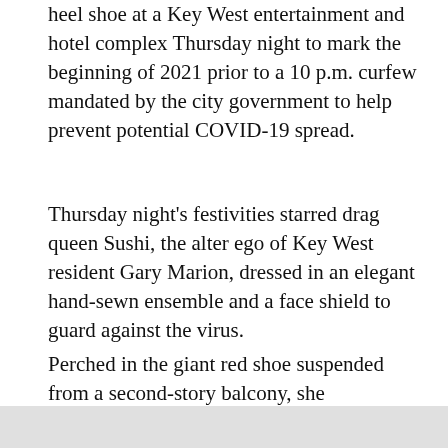heel shoe at a Key West entertainment and hotel complex Thursday night to mark the beginning of 2021 prior to a 10 p.m. curfew mandated by the city government to help prevent potential COVID-19 spread.
Thursday night's festivities starred drag queen Sushi, the alter ego of Key West resident Gary Marion, dressed in an elegant hand-sewn ensemble and a face shield to guard against the virus.
Perched in the giant red shoe suspended from a second-story balcony, she entertained a limited number of seated spectators in the courtyard of the Bourbon St. Pub complex.